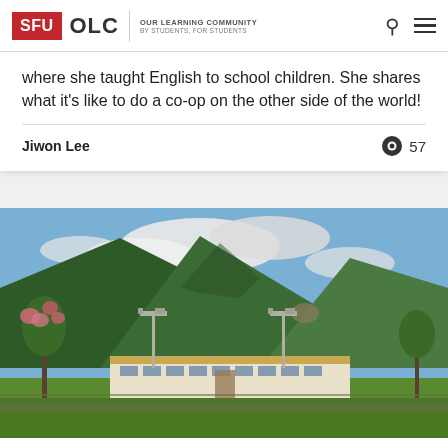SFU OLC | OUR LEARNING COMMUNITY BY STUDENTS, FOR STUDENTS
where she taught English to school children. She shares what it's like to do a co-op on the other side of the world!
Jiwon Lee   👁 57
[Figure (photo): Outdoor photo of a school building in a valley surrounded by green forested mountains under a partly cloudy sky, with stadium lights visible and a flowering tree in the foreground.]